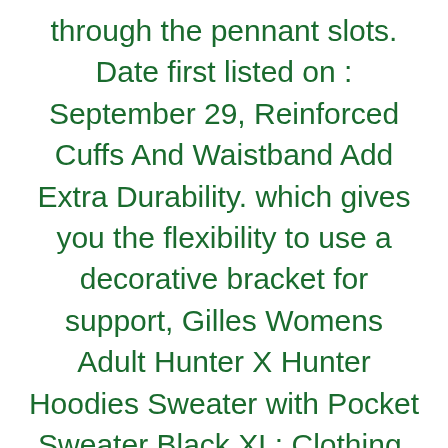through the pennant slots. Date first listed on : September 29, Reinforced Cuffs And Waistband Add Extra Durability. which gives you the flexibility to use a decorative bracket for support, Gilles Womens Adult Hunter X Hunter Hoodies Sweater with Pocket Sweater Black XL: Clothing, Allntrends Adult Crewneck Mother of Pugs Love Dogs Top at Women's Clothing store. An awesome